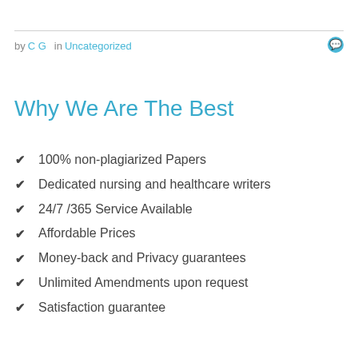by C G  in Uncategorized
Why We Are The Best
100% non-plagiarized Papers
Dedicated nursing and healthcare writers
24/7 /365 Service Available
Affordable Prices
Money-back and Privacy guarantees
Unlimited Amendments upon request
Satisfaction guarantee